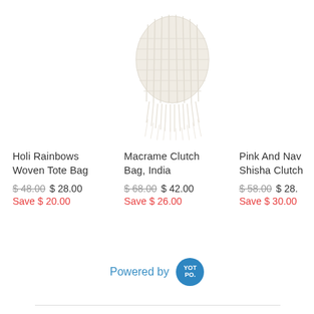[Figure (photo): Macrame clutch bag product image, white/cream woven bag with fringe, partially cropped at top]
Holi Rainbows Woven Tote Bag
$48.00  $ 28.00
Save $ 20.00
Macrame Clutch Bag, India
$68.00  $ 42.00
Save $ 26.00
Pink And Nav Shisha Clutch
$58.00  $ 28.
Save $ 30.00
Powered by  YOTPO.
5.0
1 Review